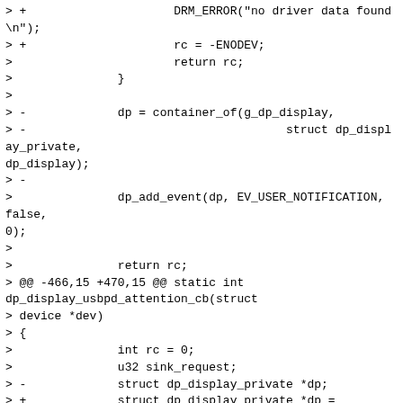> +			DRM_ERROR("no driver data found\n");
> +			rc = -ENODEV;
>			return rc;
>		}
>
> -		dp = container_of(g_dp_display,
> -					struct dp_display_private,
dp_display);
> -
>		dp_add_event(dp, EV_USER_NOTIFICATION, false,
0);
>
>		return rc;
> @@ -466,15 +470,15 @@ static int dp_display_usbpd_attention_cb(struct
> device *dev)
> {
>		int rc = 0;
>		u32 sink_request;
> -		struct dp_display_private *dp;
> +		struct dp_display_private *dp =
dev_to_dp_display_private(dev);
> +		struct dp_usbpd *hpd;
>
> -		if (!dev) {
> -			DRM_ERROR("invalid dev\n");
> -			return -EINVAL;
> +		if (!dp) {
> +			DRM_ERROR("no driver data found\n");
> +			return -ENODEV;